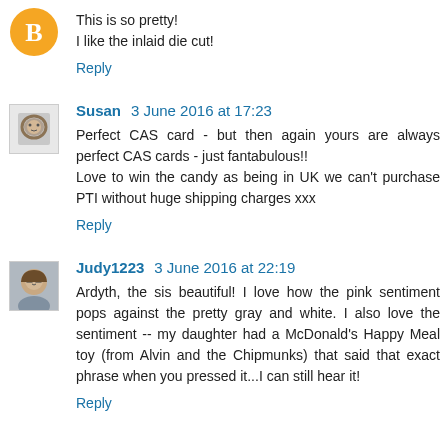[Figure (illustration): Blogger orange circle avatar icon with white 'B' letter]
This is so pretty!
I like the inlaid die cut!
Reply
[Figure (photo): Small square avatar photo of Susan showing a lion or animal sketch drawing]
Susan 3 June 2016 at 17:23
Perfect CAS card - but then again yours are always perfect CAS cards - just fantabulous!!
Love to win the candy as being in UK we can't purchase PTI without huge shipping charges xxx
Reply
[Figure (photo): Small square avatar photo of Judy1223, a person with glasses]
Judy1223 3 June 2016 at 22:19
Ardyth, the sis beautiful! I love how the pink sentiment pops against the pretty gray and white. I also love the sentiment -- my daughter had a McDonald's Happy Meal toy (from Alvin and the Chipmunks) that said that exact phrase when you pressed it...I can still hear it!
Reply